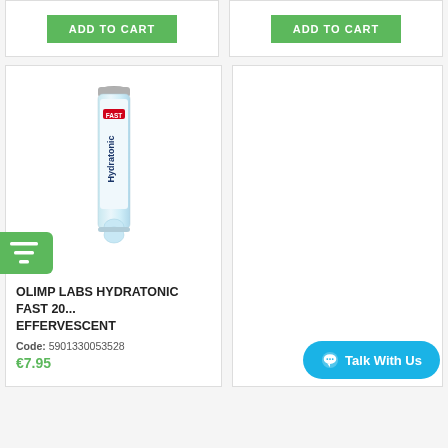[Figure (screenshot): Two 'ADD TO CART' green buttons in product card tops]
[Figure (photo): Olimp Labs Hydratonic Fast effervescent tablet tube product photo]
OLIMP LABS HYDRATONIC FAST 20... EFFERVESCENT
Code: 5901330053528